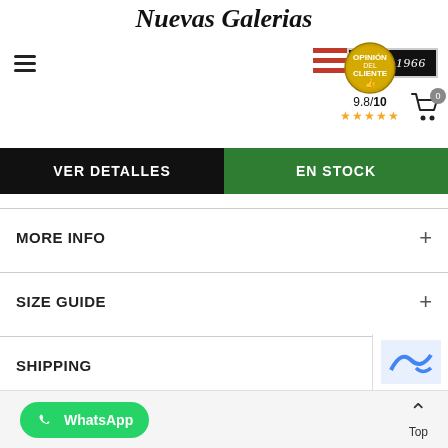Nuevas Galerias — Since 1966 — 9.8/10 rating
VER DETALLES
EN STOCK
MORE INFO +
SIZE GUIDE +
SHIPPING +
GUARANTEE +
WhatsApp  Top